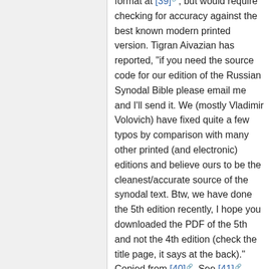format at [39], but would require checking for accuracy against the best known modern printed version. Tigran Aivazian has reported, "if you need the source code for our edition of the Russian Synodal Bible please email me and I'll send it. We (mostly Vladimir Volovich) have fixed quite a few typos by comparison with many other printed (and electronic) editions and believe ours to be the cleanest/accurate source of the synodal text. Btw, we have done the 5th edition recently, I hope you downloaded the PDF of the 5th and not the 4th edition (check the title page, it says at the back)." Copied from [40]. See [41].
"Радостная Весть" - Good News in translation from ancient greek